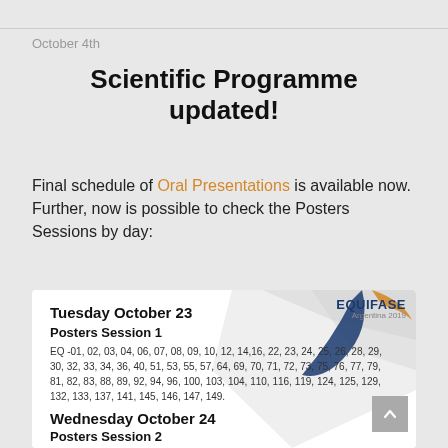October 4th
Scientific Programme updated!
Final schedule of Oral Presentations is available now. Further, now is possible to check the Posters Sessions by day:
[Figure (infographic): Conference schedule inset box showing EQUIFASE Argentina 2019 logo with decorative geometric background. Lists: Tuesday October 23, Posters Session 1 with EQ numbers, Wednesday October 24, Posters Session 2.]
Tuesday October 23
Posters Session 1
EQ -01, 02, 03, 04, 06, 07, 08, 09, 10, 12, 14,16, 22, 23, 24, 25, 26, 28, 29, 30, 32, 33, 34, 36, 40, 51, 53, 55, 57, 64, 69, 70, 71, 72, 73, 75, 76, 77, 79, 81, 82, 83, 88, 89, 92, 94, 96, 100, 103, 104, 110, 116, 119, 124, 125, 129, 132, 133, 137, 141, 145, 146, 147, 149.
Wednesday October 24
Posters Session 2